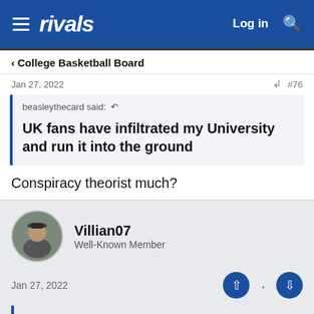rivals — Log in
< College Basketball Board
Jan 27, 2022   #76
beasleythecard said: ↩

UK fans have infiltrated my University and run it into the ground
Conspiracy theorist much?
Villian07
Well-Known Member
Jan 27, 2022